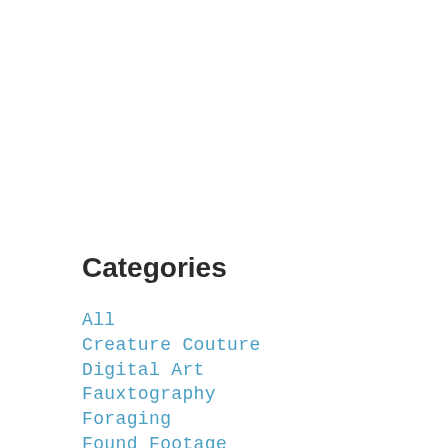Categories
All
Creature Couture
Digital Art
Fauxtography
Foraging
Found Footage
Humans Of New Mexico
India
Musings
Photo A Day 2016